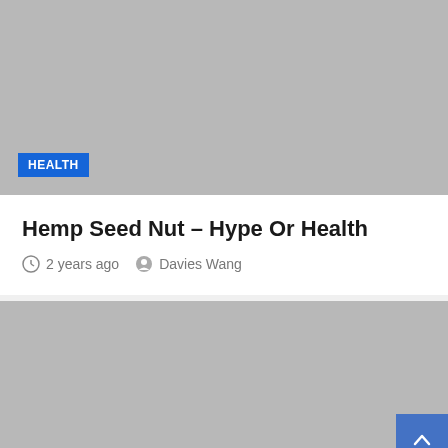[Figure (photo): Gray placeholder image with HEALTH badge in bottom left corner]
Hemp Seed Nut – Hype Or Health
2 years ago   Davies Wang
[Figure (photo): Gray placeholder image with scroll-to-top button and partial blue badge at bottom]